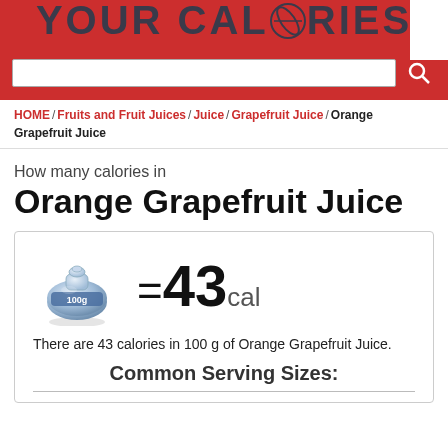YOUR CALORIES
HOME / Fruits and Fruit Juices / Juice / Grapefruit Juice / Orange Grapefruit Juice
How many calories in
Orange Grapefruit Juice
[Figure (infographic): 100g weight icon with =43cal text and description: There are 43 calories in 100 g of Orange Grapefruit Juice.]
Common Serving Sizes: